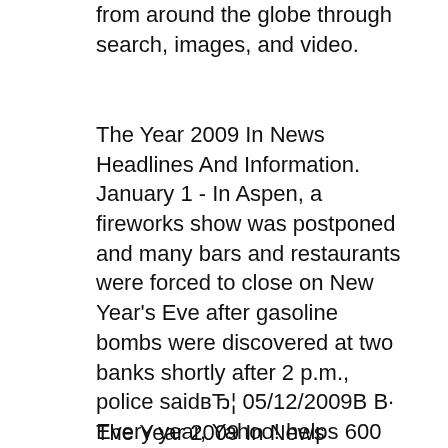from around the globe through search, images, and video.
The Year 2009 In News Headlines And Information. January 1 - In Aspen, a fireworks show was postponed and many bars and restaurants were forced to close on New Year's Eve after gasoline bombs were discovered at two banks shortly after 2 p.m., police saidвЂ¦ 05/12/2009В В· Every year, Yahoo! helps 600 million consumers connect with the things that matter to them. Here are the biggest stories of 2009. Become a fan on Facebook: Here are the biggest stories of 2009.
The Year 2009 In News Headlines And